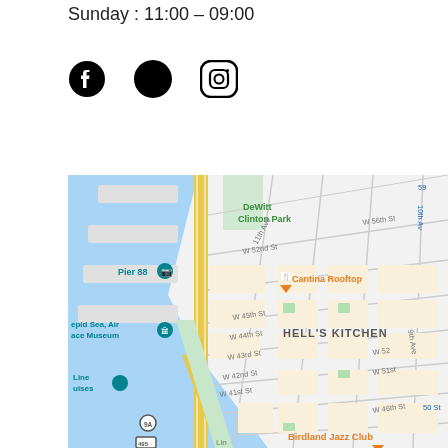Sunday : 11:00 – 09:00
[Figure (other): Social media icons: Facebook, Twitter, Instagram]
[Figure (map): Google Maps screenshot showing Hell's Kitchen neighborhood in New York City, with Cantina Rooftop restaurant marked, near Pier 88, DeWitt Clinton Park, Intrepid Sea, Air & Space Museum, and Birdland Jazz Club. Streets visible include W 42nd St, W 43rd St, W 44th St, W 45th St, W 52nd St, W 56th St, 9th Ave, 10th Ave, 11th Ave.]